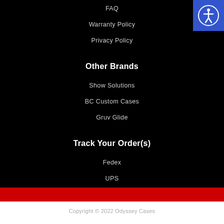FAQ
Warranty Policy
Privacy Policy
Other Brands
Show Solutions
BC Custom Cases
Gruv Glide
Track Your Order(s)
Fedex
UPS
Copyright © 2022 Odyssey Cases